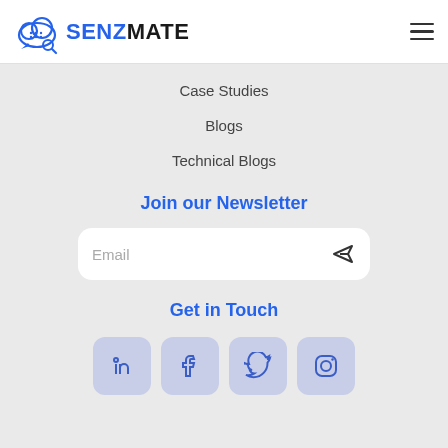[Figure (logo): SenzMate logo with cloud/chat icon and SENZMATE text in blue and dark colors]
Case Studies
Blogs
Technical Blogs
Join our Newsletter
Email
Get in Touch
[Figure (infographic): Social media icons row: LinkedIn, Facebook, Twitter, Instagram — each in a rounded square with light blue-grey background]